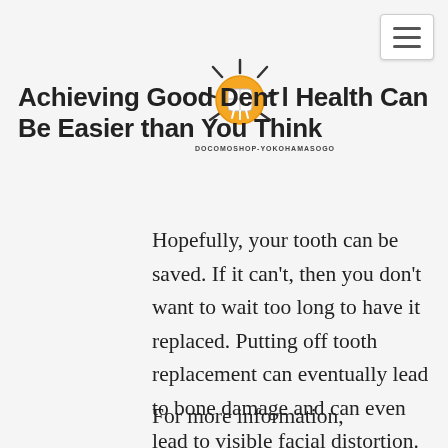Achieving Good Dental Health Can Be Easier than You Think
[Figure (logo): Circular dental logo with a tooth icon surrounded by orange/yellow rays, with text DOCOMOSHOP-YOKOHAMASOGO below]
Hopefully, your tooth can be saved. If it can't, then you don't want to wait too long to have it replaced. Putting off tooth replacement can eventually lead to bone damage and can even lead to visible facial distortion.
For more information,